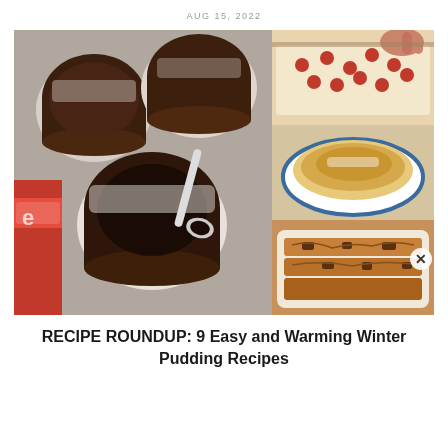AUG 15, 2022
[Figure (photo): Collage of winter pudding recipe images: left large image shows chocolate Nutella puddings in white ramekins dusted with powdered sugar with a spoon digging in; top right shows a hand placing cherries on a cream dessert in a baking dish; middle right shows a golden souffle or bread pudding in a blue-rimmed white dish; bottom right shows bread and butter pudding in a white casserole dish.]
RECIPE ROUNDUP: 9 Easy and Warming Winter Pudding Recipes